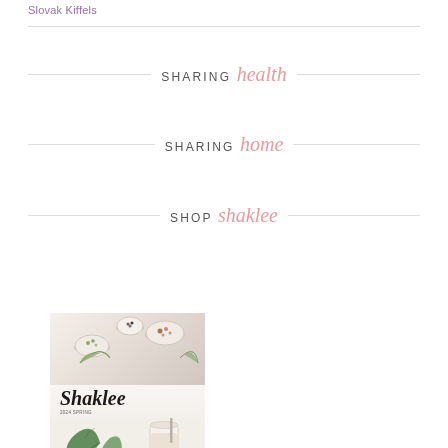Slovak Kiffels
SHARING health
SHARING home
SHOP shaklee
[Figure (photo): Shaklee product catalog cover showing bowls of herbs and spices on top half, green leaves and a smoothie drink on bottom half, with 'Shaklee' brand name in italic serif font in the middle]